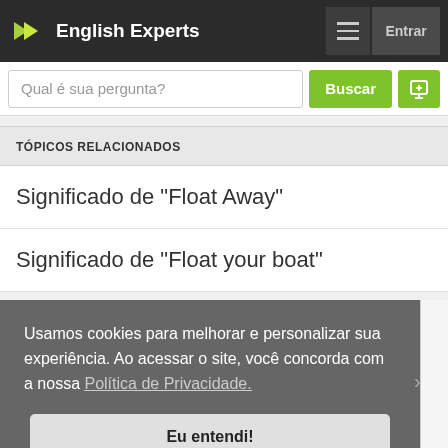English Experts
Qual é sua pergunta?
TÓPICOS RELACIONADOS
Significado de "Float Away"
Significado de "Float your boat"
Usamos cookies para melhorar e personalizar sua experiência. Ao acessar o site, você concorda com a nossa Política de Privacidade.
Eu entendi!